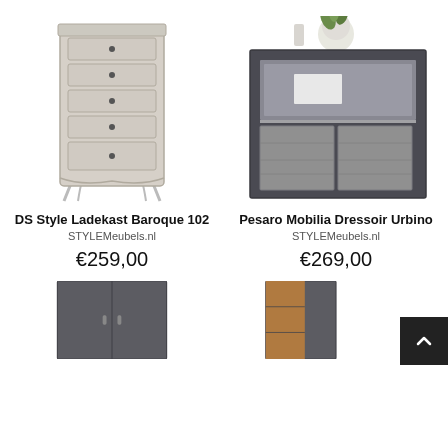[Figure (photo): DS Style Ladekast Baroque 102 - a tall cream/beige chest of drawers with 5 drawers and curved legs]
[Figure (photo): Pesaro Mobilia Dressoir Urbino - a dark grey sideboard with light grey concrete-look panel doors and decorative items on top]
DS Style Ladekast Baroque 102
STYLEMeubels.nl
€259,00
Pesaro Mobilia Dressoir Urbino
STYLEMeubels.nl
€269,00
[Figure (photo): A dark grey cabinet with two doors, partially cropped at bottom]
[Figure (photo): A dark grey tall cabinet with open shelving showing wood interior, partially cropped at bottom]